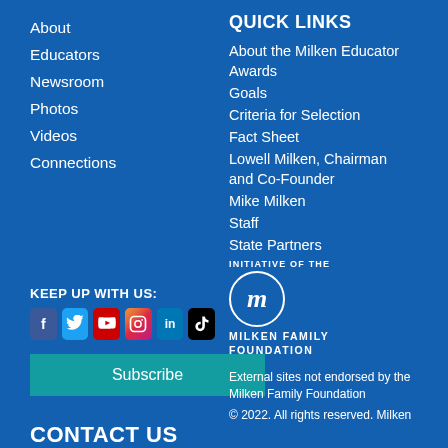About
Educators
Newsroom
Photos
Videos
Connections
QUICK LINKS
About the Milken Educator Awards
Goals
Criteria for Selection
Fact Sheet
Lowell Milken, Chairman and Co-Founder
Mike Milken
Staff
State Partners
INITIATIVE OF THE
[Figure (logo): Milken Family Foundation logo — circular m emblem with text MILKEN FAMILY FOUNDATION]
External sites not endorsed by the Milken Family Foundation
© 2022. All rights reserved. Milken Family Foundation
KEEP UP WITH US:
[Figure (other): Social media icons: Facebook, Twitter, YouTube, Instagram, LinkedIn, TikTok]
Subscribe
CONTACT US